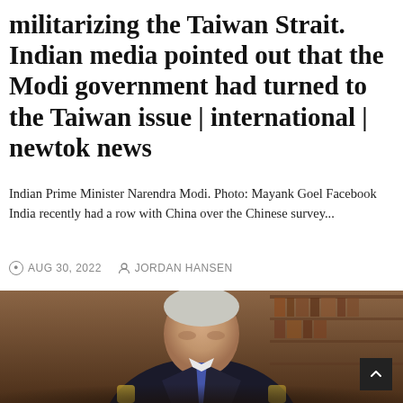militarizing the Taiwan Strait. Indian media pointed out that the Modi government had turned to the Taiwan issue | international | newtok news
Indian Prime Minister Narendra Modi. Photo: Mayank Goel Facebook India recently had a row with China over the Chinese survey...
AUG 30, 2022   JORDAN HANSEN
[Figure (photo): Photo of a man in a dark suit seated in an ornate chair with gold armrests, in front of a wooden bookcase background. The image appears to be of a political figure photographed in an official setting.]